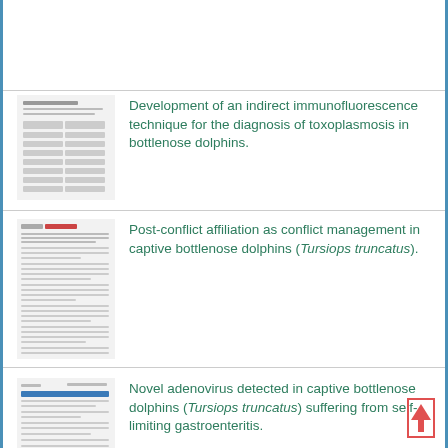[Figure (other): Empty top section with light background, top portion of a search results or publication list page]
Development of an indirect immunofluorescence technique for the diagnosis of toxoplasmosis in bottlenose dolphins.
Post-conflict affiliation as conflict management in captive bottlenose dolphins (Tursiops truncatus).
Novel adenovirus detected in captive bottlenose dolphins (Tursiops truncatus) suffering from self-limiting gastroenteritis.